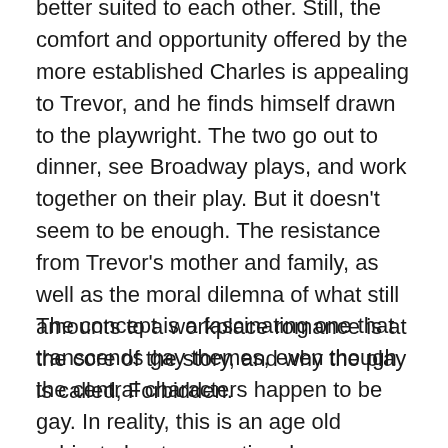better suited to each other. Still, the comfort and opportunity offered by the more established Charles is appealing to Trevor, and he finds himself drawn to the playwright. The two go out to dinner, see Broadway plays, and work together on their play. But it doesn't seem to be enough. The resistance from Trevor's mother and family, as well as the moral dilemna of what still amounts to a workplace romance is at the core of the story, and why the play is called, Forbidden.
The concept is a fascinating one that transcends gay themes, even though the central characters happen to be gay. In reality, this is an age old subject about generational romance and ho...